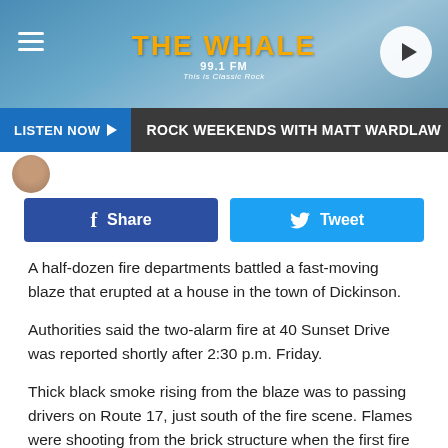The Whale 99.1 FM - This is Classic Rock
LISTEN NOW | ROCK WEEKENDS WITH MATT WARDLAW | ULTIMA
[Figure (logo): The Whale 99.1 FM radio station logo with cartoon mascot]
Share
Tweet
A half-dozen fire departments battled a fast-moving blaze that erupted at a house in the town of Dickinson.
Authorities said the two-alarm fire at 40 Sunset Drive was reported shortly after 2:30 p.m. Friday.
Thick black smoke rising from the blaze was to passing drivers on Route 17, just south of the fire scene. Flames were shooting from the brick structure when the first fire units arrived at the scene.